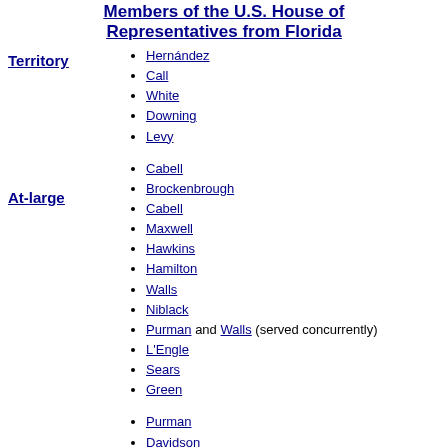Members of the U.S. House of Representatives from Florida
Territory
Hernández
Call
White
Downing
Levy
At-large
Cabell
Brockenbrough
Cabell
Maxwell
Hawkins
Hamilton
Walls
Niblack
Purman and Walls (served concurrently)
L'Engle
Sears
Green
Purman
Davidson
Mallory
Sparkman